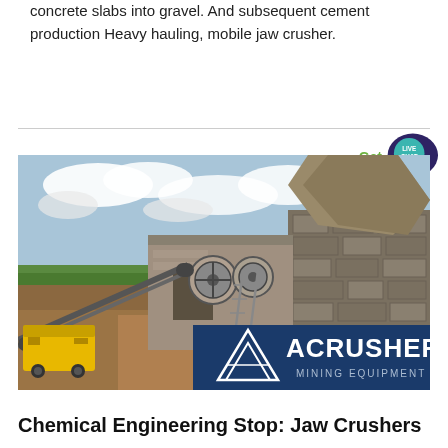concrete slabs into gravel. And subsequent cement production Heavy hauling, mobile jaw crusher.
[Figure (photo): Outdoor mining site with jaw crusher machinery, conveyor belt, yellow equipment, stone walls, and ACRUSHER Mining Equipment logo overlay in the lower right corner]
Chemical Engineering Stop: Jaw Crushers